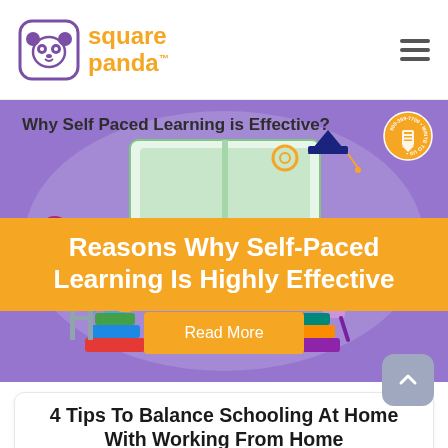[Figure (logo): Square Panda logo with panda icon and orange text]
[Figure (illustration): Hero banner with purple background showing educational illustration with students, books, graduation cap, and text 'Why Self Paced Learning is Effective?' with orange circular badge]
Reasons Why Self-Paced Learning Is Highly Effective
Read More
4 Tips To Balance Schooling At Home With Working From Home